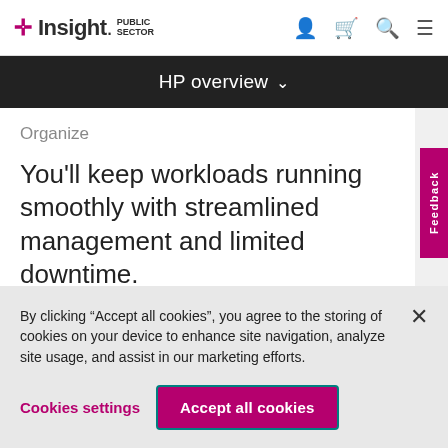Insight. PUBLIC SECTOR
HP overview
Organize
You'll keep workloads running smoothly with streamlined management and limited downtime.
By clicking "Accept all cookies", you agree to the storing of cookies on your device to enhance site navigation, analyze site usage, and assist in our marketing efforts.